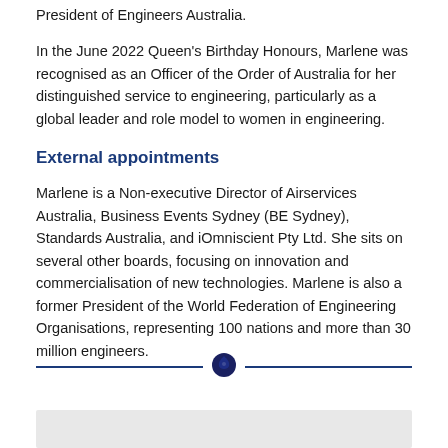President of Engineers Australia.
In the June 2022 Queen's Birthday Honours, Marlene was recognised as an Officer of the Order of Australia for her distinguished service to engineering, particularly as a global leader and role model to women in engineering.
External appointments
Marlene is a Non-executive Director of Airservices Australia, Business Events Sydney (BE Sydney), Standards Australia, and iOmniscient Pty Ltd. She sits on several other boards, focusing on innovation and commercialisation of new technologies. Marlene is also a former President of the World Federation of Engineering Organisations, representing 100 nations and more than 30 million engineers.